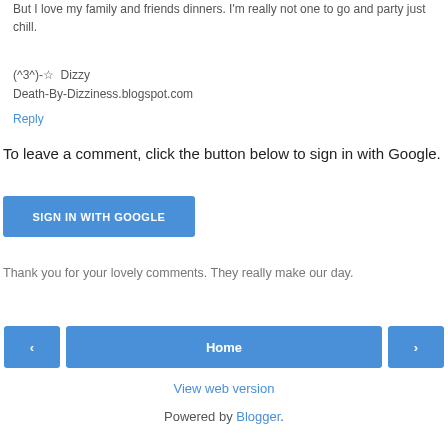But I love my family and friends dinners. I'm really not one to go and party just chill.
(^3^)-☆  Dizzy
Death-By-Dizziness.blogspot.com
Reply
To leave a comment, click the button below to sign in with Google.
SIGN IN WITH GOOGLE
Thank you for your lovely comments. They really make our day.
‹
Home
›
View web version
Powered by Blogger.